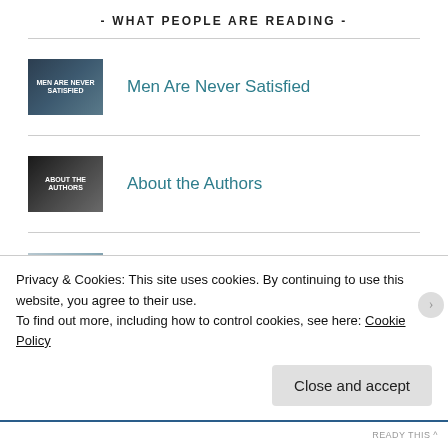- WHAT PEOPLE ARE READING -
Men Are Never Satisfied
About the Authors
Why Men Cheat
I Don't Love My Wife
Privacy & Cookies: This site uses cookies. By continuing to use this website, you agree to their use.
To find out more, including how to control cookies, see here: Cookie Policy
Close and accept